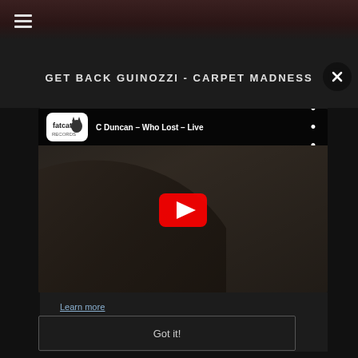[Figure (screenshot): Website screenshot with dark background showing a music page]
GET BACK GUINOZZI - CARPET MADNESS
[Figure (screenshot): YouTube video embed showing 'C Duncan - Who Lost - Live' with FatCat Records logo and play button overlay]
Learn more
Got it!